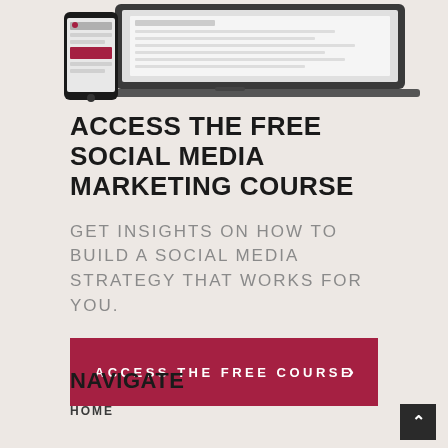[Figure (illustration): Partial view of a laptop and smartphone device mockup showing a website/app interface, cropped at the top of the page]
ACCESS THE FREE SOCIAL MEDIA MARKETING COURSE
GET INSIGHTS ON HOW TO BUILD A SOCIAL MEDIA STRATEGY THAT WORKS FOR YOU.
ACCESS THE FREE COURSE
NAVIGATE
HOME